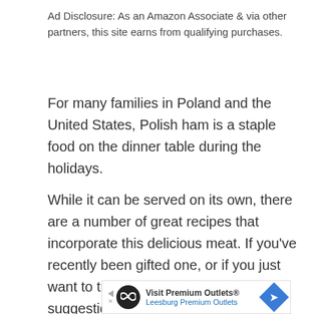Ad Disclosure: As an Amazon Associate & via other partners, this site earns from qualifying purchases.
For many families in Poland and the United States, Polish ham is a staple food on the dinner table during the holidays.
While it can be served on its own, there are a number of great recipes that incorporate this delicious meat. If you’ve recently been gifted one, or if you just want to try this food, try some of these suggestions.
[Read more…]
[Figure (other): Advertisement banner for Visit Premium Outlets® Leesburg Premium Outlets with logo, infinity symbol icon, and navigation arrow icon.]